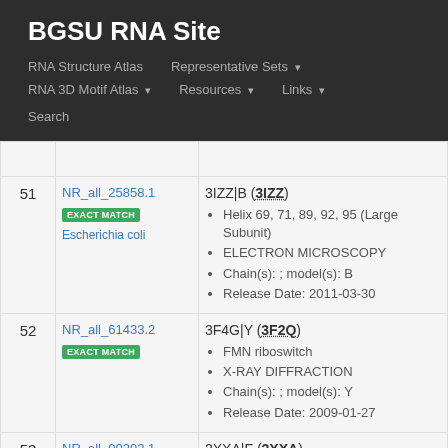BGSU RNA Site
RNA Structure Atlas | Representative Sets ▾ | RNA 3D Motif Atlas ▾ | Resources ▾ | Links ▾ | Search
| # | ID | Details |
| --- | --- | --- |
| 51 | NR_all_25858.1
EXACT MATCH
Escherichia coli | 3IZZ|B (3IZZ)
• Helix 69, 71, 89, 92, 95 (Large Subunit)
• ELECTRON MICROSCOPY
• Chain(s): ; model(s): B
• Release Date: 2011-03-30 |
| 52 | NR_all_61433.2
EXACT MATCH | 3F4G|Y (3F2Q)
• FMN riboswitch
• X-RAY DIFFRACTION
• Chain(s): ; model(s): Y
• Release Date: 2009-01-27 |
| 53 | NR_all_00293.1 | 2XXA|F (2XXA) |